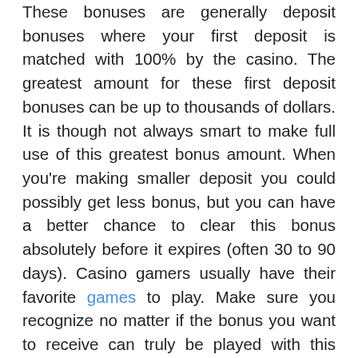These bonuses are generally deposit bonuses where your first deposit is matched with 100% by the casino. The greatest amount for these first deposit bonuses can be up to thousands of dollars. It is though not always smart to make full use of this greatest bonus amount. When you're making smaller deposit you could possibly get less bonus, but you can have a better chance to clear this bonus absolutely before it expires (often 30 to 90 days). Casino gamers usually have their favorite games to play. Make sure you recognize no matter if the bonus you want to receive can truly be played with this game. Casino bonuses can often be cleared with slot machines as a result of the pretty low-payout for players.